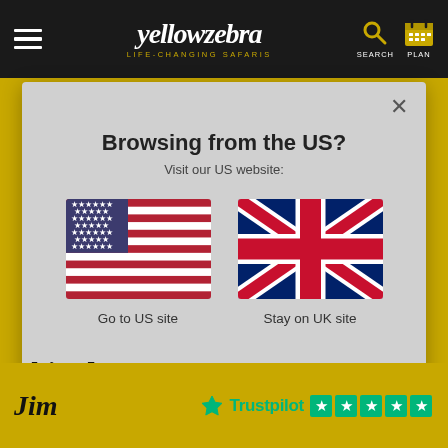[Figure (screenshot): Yellow Zebra safaris website navigation bar with hamburger menu, logo, search and plan icons on black background]
[Figure (screenshot): Modal dialog: Browsing from the US? Visit our US website. Shows US flag with 'Go to US site' and UK flag with 'Stay on UK site' options on grey background with X close button]
altitude.
Jim
[Figure (logo): Trustpilot logo with green star and 5 green star rating boxes]